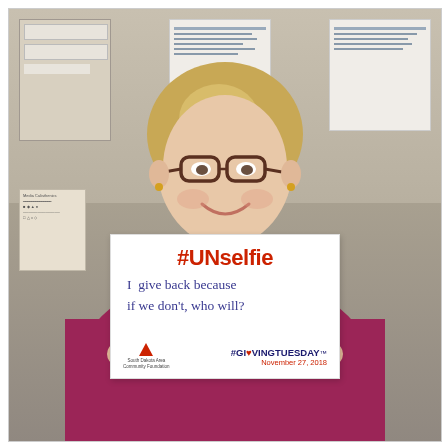[Figure (photo): A woman with blonde hair and glasses wearing a magenta/raspberry sweater, smiling and holding a white sign that reads '#UNselfie' in red at the top, followed by handwritten blue text: 'I give back because if we don't, who will?' The bottom of the sign shows a small organization logo on the left and '#GIVINGTUESDAY November 27, 2018' on the right. The background shows office cabinets and bulletin boards.]